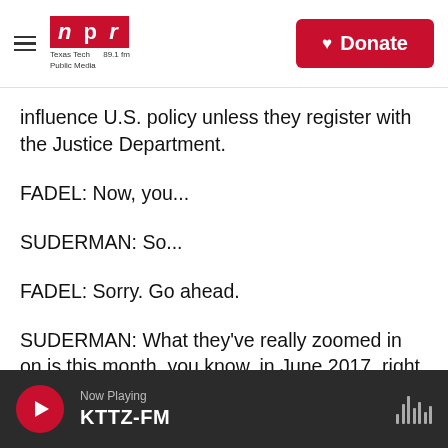NPR - Texas Tech Public Media 89.1 fm | Donate
influence U.S. policy unless they register with the Justice Department.
FADEL: Now, you...
SUDERMAN: So...
FADEL: Sorry. Go ahead.
SUDERMAN: What they've really zoomed in on is this month, you know, in June 2017, right when Qatar and its neighbors got into this - you know, this big diplomatic crisis erupted in the Gulf. And so they're looking at what General Allen did in that
Now Playing KTTZ-FM